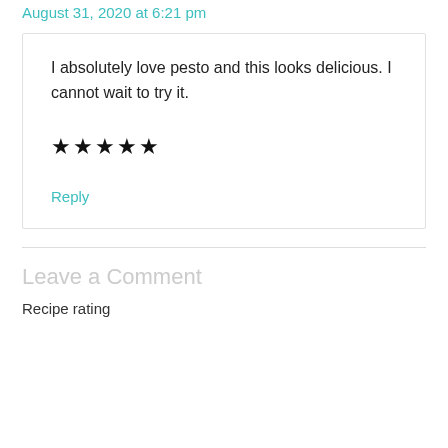August 31, 2020 at 6:21 pm
I absolutely love pesto and this looks delicious. I cannot wait to try it.
★★★★★
Reply
Leave a Comment
Recipe rating